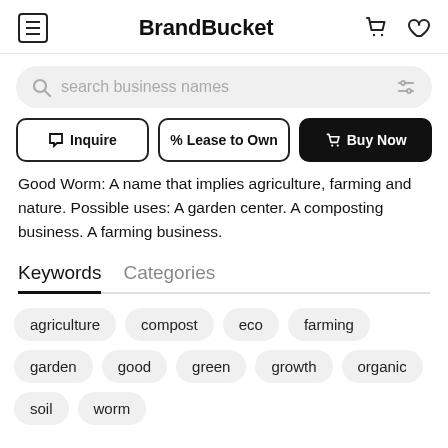BrandBucket
search business names
Inquire | % Lease to Own | Buy Now
Good Worm: A name that implies agriculture, farming and nature. Possible uses: A garden center. A composting business. A farming business.
Keywords   Categories
agriculture
compost
eco
farming
garden
good
green
growth
organic
soil
worm